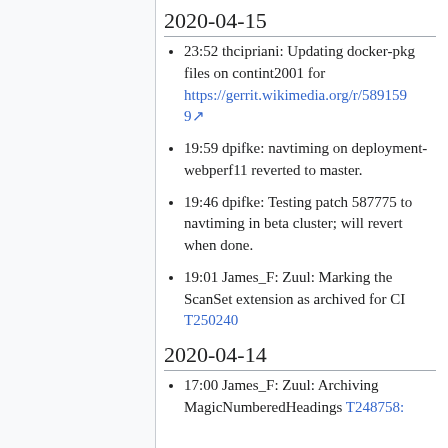2020-04-15
23:52 thcipriani: Updating docker-pkg files on contint2001 for https://gerrit.wikimedia.org/r/5891599
19:59 dpifke: navtiming on deployment-webperf11 reverted to master.
19:46 dpifke: Testing patch 587775 to navtiming in beta cluster; will revert when done.
19:01 James_F: Zuul: Marking the ScanSet extension as archived for CI T250240
2020-04-14
17:00 James_F: Zuul: Archiving MagicNumberedHeadings T248758: